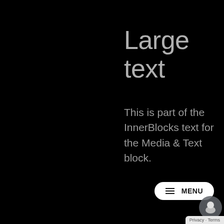Large text
This is part of the InnerBlocks text for the Media & Text block.
≡ MENU